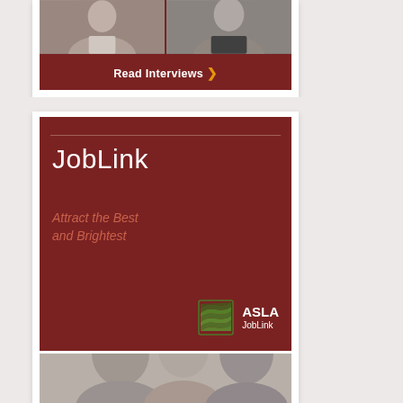[Figure (photo): Two men in black-and-white photos side by side on a dark red background, with Read Interviews button]
[Figure (infographic): JobLink advertisement on dark red background with ASLA JobLink logo and text Attract the Best and Brightest]
[Figure (photo): Black-and-white photo strip of people at the bottom]